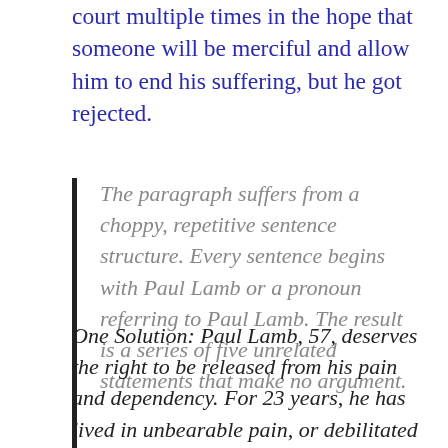court multiple times in the hope that someone will be merciful and allow him to end his suffering, but he got rejected.
The paragraph suffers from a choppy, repetitive sentence structure. Every sentence begins with Paul Lamb or a pronoun referring to Paul Lamb. The result is a series of five unrelated statements that make no argument.
One Solution: Paul Lamb, 57, deserves the right to be released from his pain and dependency. For 23 years, he has lived in unbearable pain, or debilitated by a morphine drip that eases the